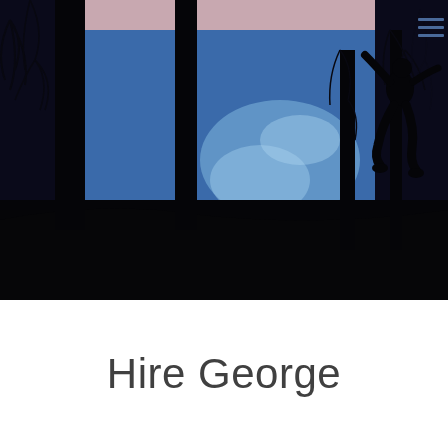[Figure (photo): A dramatic silhouette photograph of a person jumping in mid-air between dark tree trunks, with a blue-toned lake or water body in the background reflecting light. The foreground is very dark/black, and the scene is set during dusk or dawn.]
Hire George